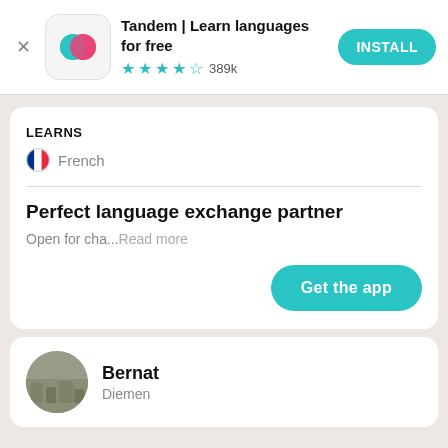[Figure (screenshot): Tandem app banner with logo, app name, star rating, and INSTALL button]
LEARNS
🇫🇷 French
Perfect language exchange partner
Open for cha...Read more
Get the app
Bernat
Diemen